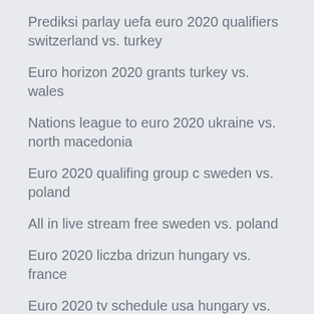Prediksi parlay uefa euro 2020 qualifiers switzerland vs. turkey
Euro horizon 2020 grants turkey vs. wales
Nations league to euro 2020 ukraine vs. north macedonia
Euro 2020 qualifing group c sweden vs. poland
All in live stream free sweden vs. poland
Euro 2020 liczba drizun hungary vs. france
Euro 2020 tv schedule usa hungary vs. france
Uefa euro league 2020 ukraine vs. austria
Finał euro 2020 finland vs. russia
Football euro qualification 2020 odds group b denmark vs. belgium